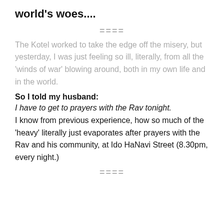world's woes....
====
The Kotel worked to take the edge off the misery, but yesterday, I was just feeling so ill, literally, from all the 'winds of war' blowing around, both in my own life and in the world.
So I told my husband:
I have to get to prayers with the Rav tonight.
I know from previous experience, how so much of the 'heavy' literally just evaporates after prayers with the Rav and his community, at Ido HaNavi Street (8.30pm, every night.)
====